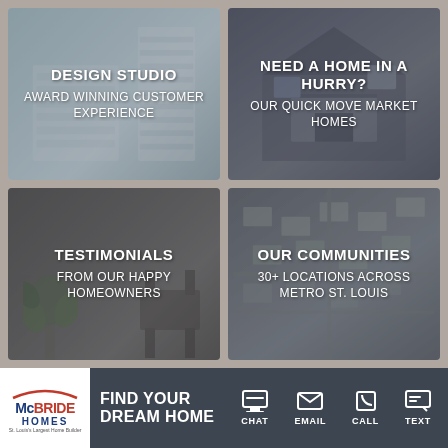[Figure (infographic): Design Studio panel with light blue-grey interior photo background]
[Figure (infographic): Need a Home in a Hurry panel with dark house exterior photo background]
[Figure (infographic): Testimonials panel with dark interior dining room photo background]
[Figure (infographic): Our Communities panel with aerial view photo background]
[Figure (logo): McBride Homes logo - white background with blue and red text]
FIND YOUR DREAM HOME
CHAT EMAIL CALL TEXT